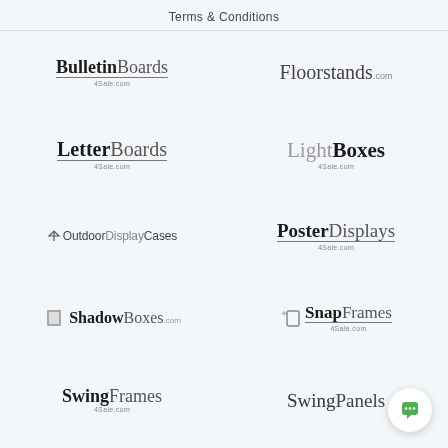Terms & Conditions
[Figure (logo): BulletinBoards 4Sale.com logo]
[Figure (logo): Floorstands.com logo]
[Figure (logo): LetterBoards 4Sale.com logo]
[Figure (logo): LightBoxes 4Sale.com logo]
[Figure (logo): OutdoorDisplayCases logo]
[Figure (logo): PosterDisplays 4Sale.com logo]
[Figure (logo): ShadowBoxes.com logo]
[Figure (logo): SnapFrames 4Sale.com logo]
[Figure (logo): SwingFrames 4Sale.com logo]
[Figure (logo): SwingPanels logo]